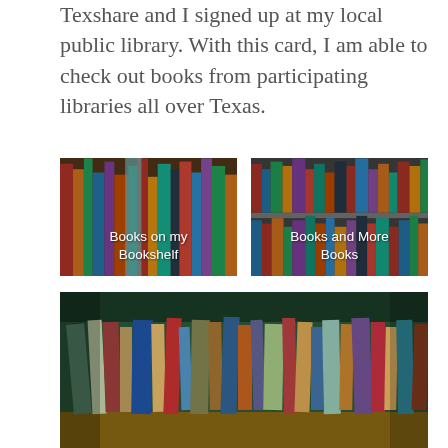Texshare and I signed up at my local public library. With this card, I am able to check out books from participating libraries all over Texas.
[Figure (photo): Photo of books on a bookshelf with white text overlay reading 'Books on my Bookshelf']
[Figure (photo): Photo of books on a shelf with white text overlay reading 'Books and More Books']
[Figure (photo): Closeup photo of many books standing upright on a shelf, viewed at an angle]